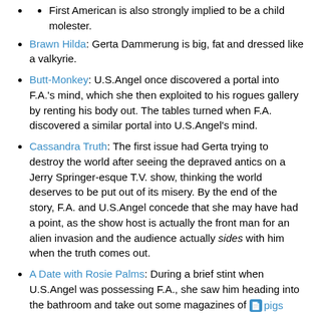First American is also strongly implied to be a child molester.
Brawn Hilda: Gerta Dammerung is big, fat and dressed like a valkyrie.
Butt-Monkey: U.S.Angel once discovered a portal into F.A.'s mind, which she then exploited to his rogues gallery by renting his body out. The tables turned when F.A. discovered a similar portal into U.S.Angel's mind.
Cassandra Truth: The first issue had Gerta trying to destroy the world after seeing the depraved antics on a Jerry Springer-esque T.V. show, thinking the world deserves to be put out of its misery. By the end of the story, F.A. and U.S.Angel concede that she may have had a point, as the show host is actually the front man for an alien invasion and the audience actually sides with him when the truth comes out.
A Date with Rosie Palms: During a brief stint when U.S.Angel was possessing F.A., she saw him heading into the bathroom and take out some magazines of pigs